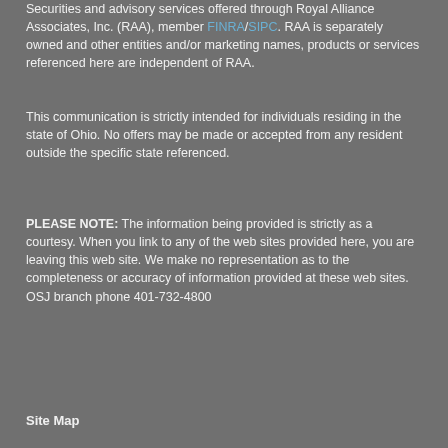Securities and advisory services offered through Royal Alliance Associates, Inc. (RAA), member FINRA/SIPC. RAA is separately owned and other entities and/or marketing names, products or services referenced here are independent of RAA.
This communication is strictly intended for individuals residing in the state of Ohio. No offers may be made or accepted from any resident outside the specific state referenced.
PLEASE NOTE: The information being provided is strictly as a courtesy. When you link to any of the web sites provided here, you are leaving this web site. We make no representation as to the completeness or accuracy of information provided at these web sites. OSJ branch phone 401-732-4800
Site Map